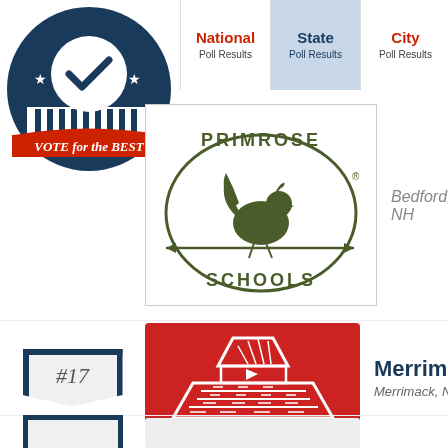[Figure (logo): Vote for the Best circular badge with navy blue background, stars, checkmark, and red banner reading VOTE for the BEST]
National Poll Results | State Poll Results | City Poll Results
[Figure (logo): Primrose Schools circular logo with rooster on arrow, olive green and white]
Bedford, NH
#17
[Figure (logo): Red square logo with white barn/pyramid house illustration]
Merrimack
Merrimack, NH